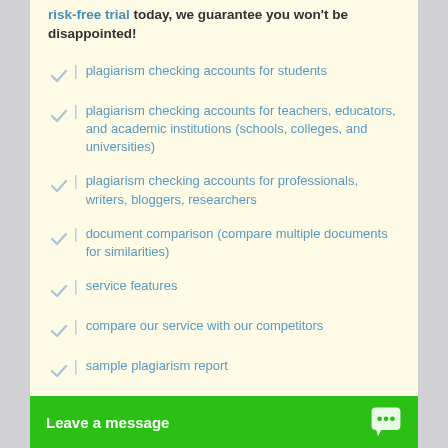risk-free trial today, we guarantee you won't be disappointed!
plagiarism checking accounts for students
plagiarism checking accounts for teachers, educators, and academic institutions (schools, colleges, and universities)
plagiarism checking accounts for professionals, writers, bloggers, researchers
document comparison (compare multiple documents for similarities)
service features
compare our service with our competitors
sample plagiarism report
advantages of paid plagiarism checking over free alternatives
Leave a message